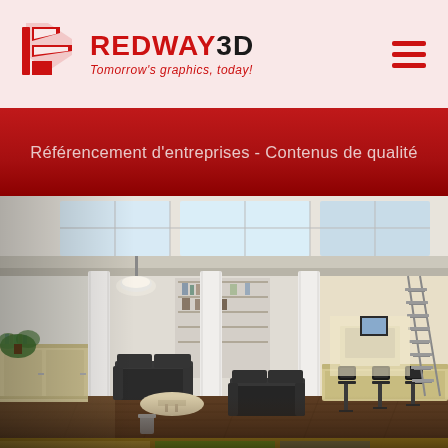REDWAY3D — Tomorrow's graphics, today!
Référencement d'entreprises - Contenus de qualité
[Figure (photo): Interior 3D rendering of a modern open-plan office/showroom space with white columns, skylights, dark wood flooring, black sofas, a round coffee table, a bar counter with stools, bookshelves, and a metal staircase on the right side.]